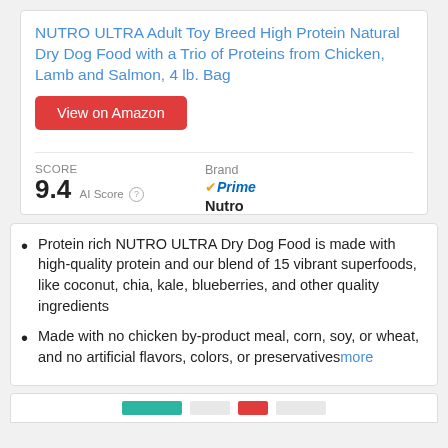NUTRO ULTRA Adult Toy Breed High Protein Natural Dry Dog Food with a Trio of Proteins from Chicken, Lamb and Salmon, 4 lb. Bag
View on Amazon
SCORE 9.4 AI Score
Brand Prime Nutro
Protein rich NUTRO ULTRA Dry Dog Food is made with high-quality protein and our blend of 15 vibrant superfoods, like coconut, chia, kale, blueberries, and other quality ingredients
Made with no chicken by-product meal, corn, soy, or wheat, and no artificial flavors, colors, or preservatives more